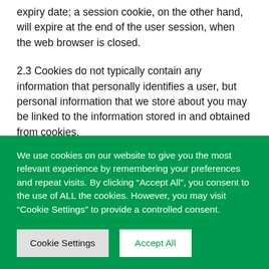expiry date; a session cookie, on the other hand, will expire at the end of the user session, when the web browser is closed.
2.3 Cookies do not typically contain any information that personally identifies a user, but personal information that we store about you may be linked to the information stored in and obtained from cookies.
3. How we use cookies
We use cookies on our website to give you the most relevant experience by remembering your preferences and repeat visits. By clicking “Accept All”, you consent to the use of ALL the cookies. However, you may visit “Cookie Settings” to provide a controlled consent.